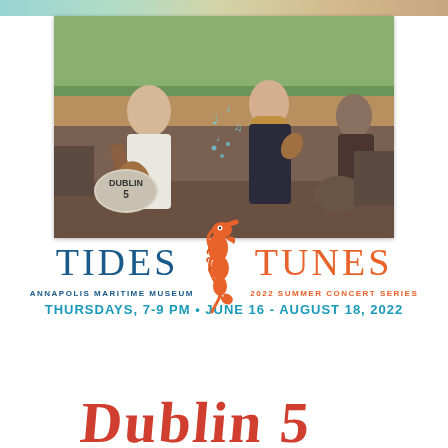[Figure (photo): Band photo showing musicians performing outdoors. A man in white shirt playing guitar on the left, a woman with long hair playing violin/fiddle in the middle in a dark outfit, with a drummer visible on the right. A bass drum with 'DUBLIN 5' text is visible. Event logo overlay with seahorse, music notes, and 'TIDES & TUNES' text is partially on the photo.]
TIDES & TUNES
ANNAPOLIS MARITIME MUSEUM      2022 SUMMER CONCERT SERIES
THURSDAYS, 7-9 PM • JUNE 16 - AUGUST 18, 2022
[Figure (logo): Partial view of red stylized text logo at the bottom of the page, partially cut off]